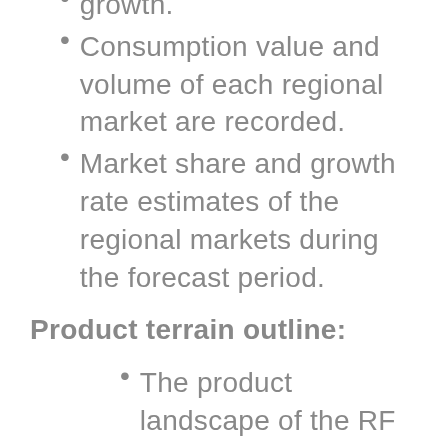Consumption value and volume of each regional market are recorded.
Market share and growth rate estimates of the regional markets during the forecast period.
Product terrain outline:
The product landscape of the RF Inductor for